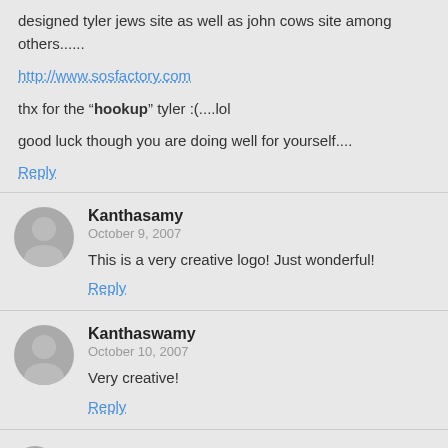designed tyler jews site as well as john cows site among others......
http://www.sosfactory.com
thx for the "hookup" tyler :(....lol
good luck though you are doing well for yourself....
Reply
Kanthasamy
October 9, 2007
This is a very creative logo! Just wonderful!
Reply
Kanthaswamy
October 10, 2007
Very creative!
Reply
oyun